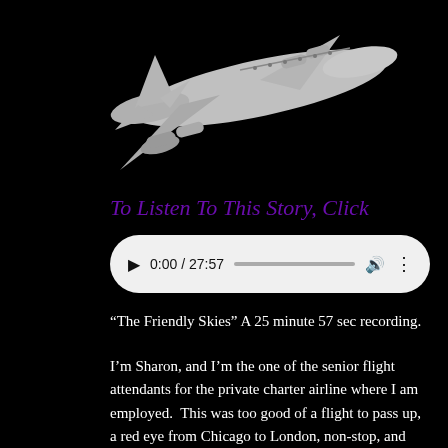[Figure (illustration): 3D rendered image of a large commercial airplane (appears to be a Boeing 747) in gray/silver against a black background, viewed from a slightly below-front angle, banking to the right.]
To Listen To This Story, Click
[Figure (screenshot): Audio player UI element with play button, time display showing 0:00 / 27:57, a progress bar, volume icon, and menu dots on a white/light gray rounded pill-shaped background.]
“The Friendly Skies” A 25 minute 57 sec recording.
I’m Sharon, and I’m the one of the senior flight attendants for the private charter airline where I am employed.  This was too good of a flight to pass up, a red eye from Chicago to London, non-stop, and not